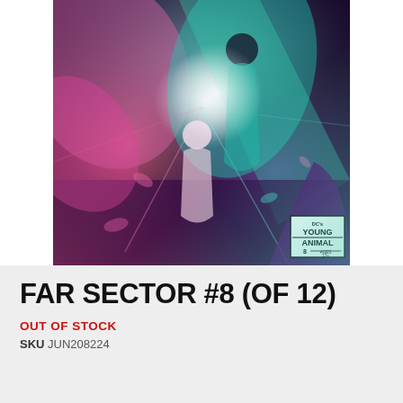[Figure (illustration): Comic book cover art for Far Sector #8 (of 12), DC's Young Animal imprint. Action scene featuring a female hero in teal/green costume fighting against a swirling background of pink, magenta, and teal colors. DC's Young Animal badge visible in lower right corner with issue number 8.]
FAR SECTOR #8 (OF 12)
OUT OF STOCK
SKU JUN208224